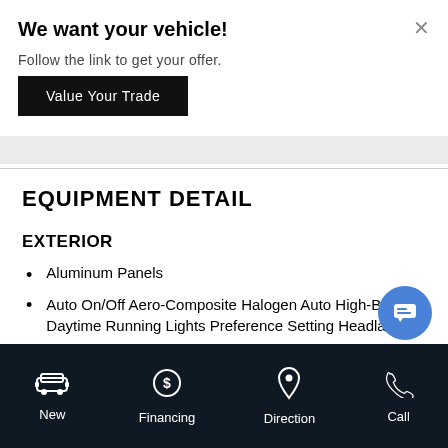We want your vehicle!
Follow the link to get your offer.
Value Your Trade
EQUIPMENT DETAIL
EXTERIOR
Aluminum Panels
Auto On/Off Aero-Composite Halogen Auto High-Beam Daytime Running Lights Preference Setting Headlamps
Show more
New  Financing  Direction  Call